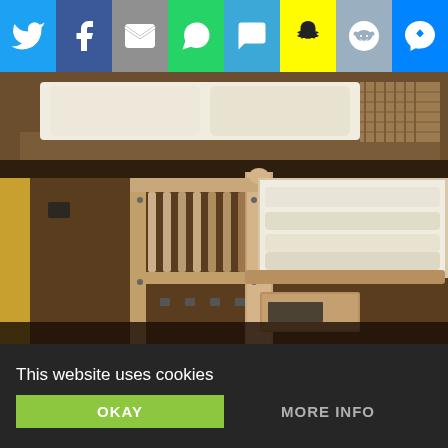[Figure (screenshot): Social media share bar with 8 icons: Twitter (blue), Facebook (dark blue), Email/Mail (grey), WhatsApp (green), SMS (light blue), Snapchat (yellow), Reddit (light blue/grey), Facebook Messenger (blue)]
[Figure (photo): Close-up photo of wooden bunk beds in a hotel or hostel room. The upper bunk has white pillows/bedding. The lower bunk has a white duvet/comforter. The bed frame is light wood with vertical slats. Dark wood paneling walls in the background.]
This website uses cookies
OKAY
MORE INFO